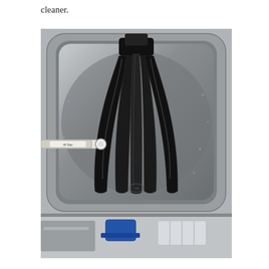cleaner.
[Figure (photo): Top-down view of an ultrasonic cleaner tank (stainless steel) containing black plastic/rubber parts arranged in a fan-like or blade pattern inside the cleaning basket. A cleaning solution or ultrasonic cleaner tube is inserted from the left side. Below the tank, partially visible, is a blue component and additional stainless steel parts.]